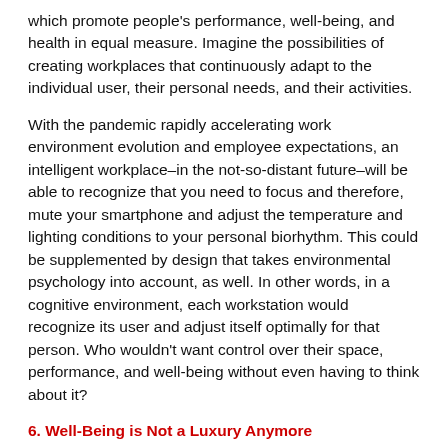which promote people's performance, well-being, and health in equal measure. Imagine the possibilities of creating workplaces that continuously adapt to the individual user, their personal needs, and their activities.
With the pandemic rapidly accelerating work environment evolution and employee expectations, an intelligent workplace–in the not-so-distant future–will be able to recognize that you need to focus and therefore, mute your smartphone and adjust the temperature and lighting conditions to your personal biorhythm. This could be supplemented by design that takes environmental psychology into account, as well. In other words, in a cognitive environment, each workstation would recognize its user and adjust itself optimally for that person. Who wouldn't want control over their space, performance, and well-being without even having to think about it?
6. Well-Being is Not a Luxury Anymore
Working remotely has also provided the unfortunate benefit of understanding the consequences of removing nearly all in-person social interaction between employees. Companies should take the time to ensure their employees have adequate social activity and...